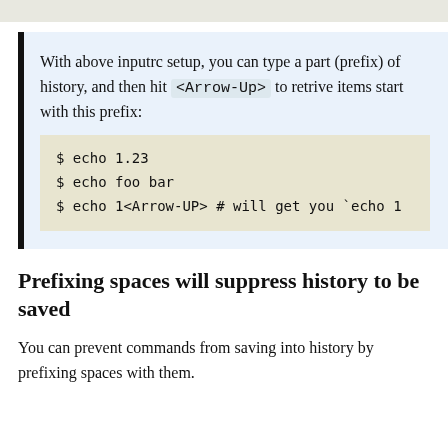With above inputrc setup, you can type a part (prefix) of history, and then hit <Arrow-Up> to retrive items start with this prefix:
$ echo 1.23
$ echo foo bar
$ echo 1<Arrow-UP>  # will get you `echo 1
Prefixing spaces will suppress history to be saved
You can prevent commands from saving into history by prefixing spaces with them.